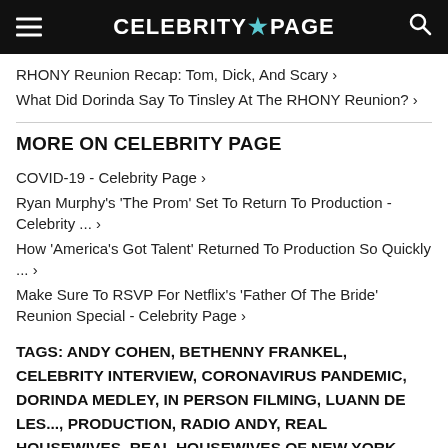CELEBRITY PAGE
RHONY Reunion Recap: Tom, Dick, And Scary ›
What Did Dorinda Say To Tinsley At The RHONY Reunion? ›
MORE ON CELEBRITY PAGE
COVID-19 - Celebrity Page ›
Ryan Murphy's 'The Prom' Set To Return To Production - Celebrity ... ›
How 'America's Got Talent' Returned To Production So Quickly ... ›
Make Sure To RSVP For Netflix's 'Father Of The Bride' Reunion Special - Celebrity Page ›
TAGS: ANDY COHEN, BETHENNY FRANKEL, CELEBRITY INTERVIEW, CORONAVIRUS PANDEMIC, DORINDA MEDLEY, IN PERSON FILMING, LUANN DE LES..., PRODUCTION, RADIO ANDY, REAL HOUSEWIVES, REAL HOUSEWIVES OF NEW YORK CITY, REUNION SPECIAL, RHONY, SIRIUS XM, REALITY TV